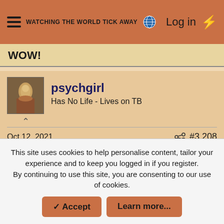WATCHING THE WORLD TICK AWAY — Log in
WOW!
psychgirl
Has No Life - Lives on TB
Oct 12, 2021   #3,208
joannita said: Miami stores are getting hit hard; lines, police to prevent rioting, etc. Why? BC there are a lot of Russian, Cubans,
This site uses cookies to help personalise content, tailor your experience and to keep you logged in if you register.
By continuing to use this site, you are consenting to our use of cookies.